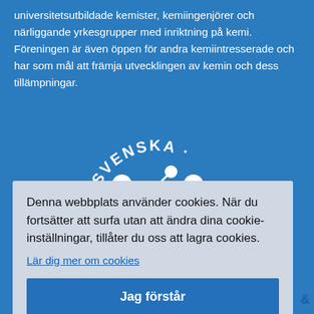universitetsutbildade kemister, kemiingenjörer och närliggande yrkesgrupper med inriktning på kemi. Föreningen är även öppen för andra kemiintresserade och har som mål att främja utvecklingen av kemin och dess tillämpningar.
[Figure (logo): Svenska Kemisällskapet logo — white molecular structure with text 'SVENSKA' arched above and partial text around a central molecule graphic on a blue background]
Denna webbplats använder cookies. När du fortsätter att surfa utan att ändra dina cookie-inställningar, tillåter du oss att lagra cookies.
Lär dig mer om cookies
Jag förstår